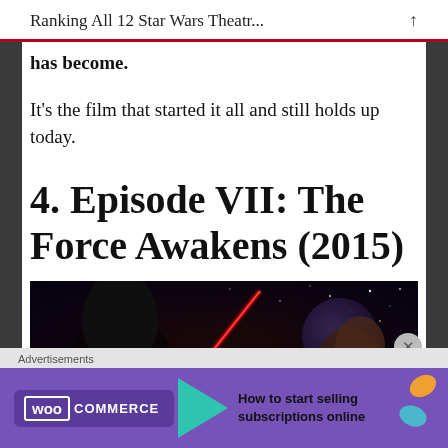Ranking All 12 Star Wars Theatr...
has become.
It's the film that started it all and still holds up today.
4. Episode VII: The Force Awakens (2015)
[Figure (photo): Movie promotional image for Star Wars Episode VII: The Force Awakens showing characters with a red lightsaber against a space background]
Advertisements
[Figure (screenshot): WooCommerce advertisement banner: How to start selling subscriptions online]